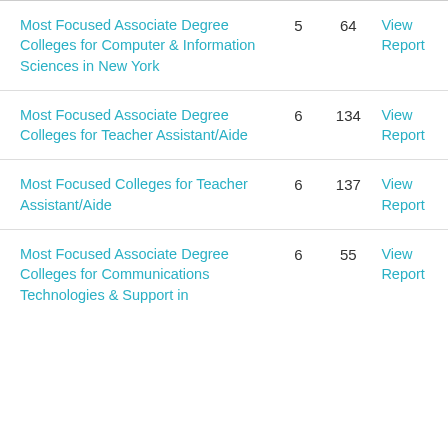| Report Name |  |  | Action |
| --- | --- | --- | --- |
| Most Focused Associate Degree Colleges for Computer & Information Sciences in New York | 5 | 64 | View Report |
| Most Focused Associate Degree Colleges for Teacher Assistant/Aide | 6 | 134 | View Report |
| Most Focused Colleges for Teacher Assistant/Aide | 6 | 137 | View Report |
| Most Focused Associate Degree Colleges for Communications Technologies & Support in | 6 | 55 | View Report |